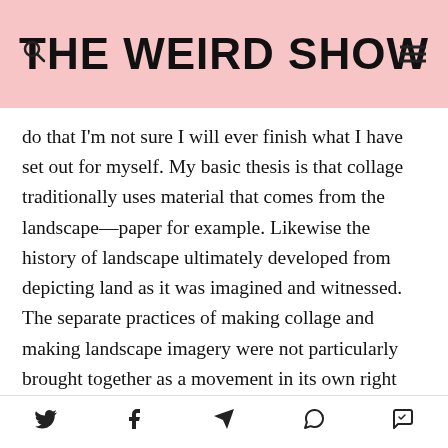THE WEIRD SHOW
do that I'm not sure I will ever finish what I have set out for myself. My basic thesis is that collage traditionally uses material that comes from the landscape—paper for example. Likewise the history of landscape ultimately developed from depicting land as it was imagined and witnessed. The separate practices of making collage and making landscape imagery were not particularly brought together as a movement in its own right but by the middle of the twentieth-century when artists began using tracts of land to make their art with. Land Art and eventually Eco-Art became foci in their own rights, which both make use of collage practices and expanded collage strategies. These two histories have collided
Twitter Facebook Telegram WhatsApp Messenger